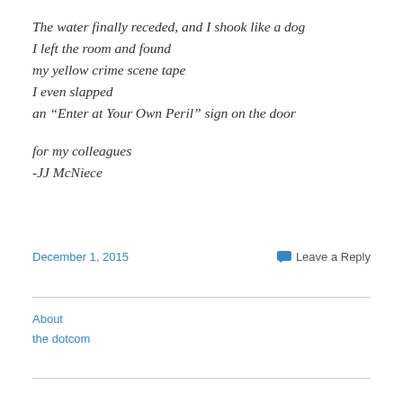The water finally receded, and I shook like a dog
I left the room and found
my yellow crime scene tape
I even slapped
an “Enter at Your Own Peril” sign on the door

for my colleagues
-JJ McNiece
December 1, 2015
Leave a Reply
About
the dotcom